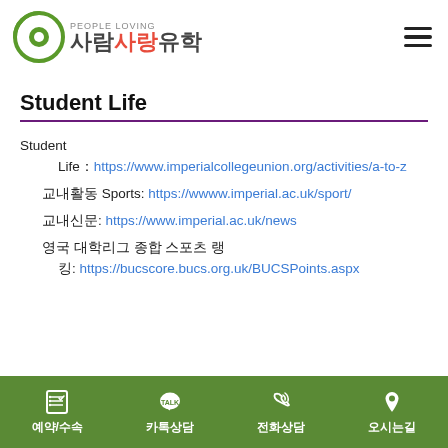[Figure (logo): 사람사랑유학 logo with People Loving tagline and green circular icon]
Student Life
Student
    Life: https://www.imperialcollegeunion.org/activities/a-to-z
교내활동 Sports: https://www.imperial.ac.uk/sport/
교내신문: https://www.imperial.ac.uk/news
영국 대학리그 종합 스포츠 랭
    킹: https://bucscore.bucs.org.uk/BUCSPoints.aspx
예약/수속  카톡상담  전화상담  오시는길